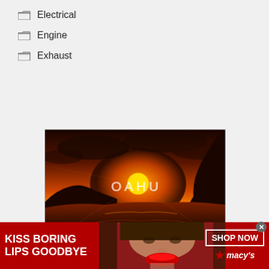Electrical
Engine
Exhaust
[Figure (photo): Sunset/dusk coastal scene of Oahu Hawaii with dramatic orange sky, silhouetted cliffs and rocks, ocean water, with text OAHU overlaid in white]
DISCOVER AMAZING TRAVEL SIDESTAGE.COM
[Figure (photo): Macy's advertisement banner - red background with white text KISS BORING LIPS GOODBYE, photo of woman with red lipstick, SHOP NOW button, Macy's star logo]